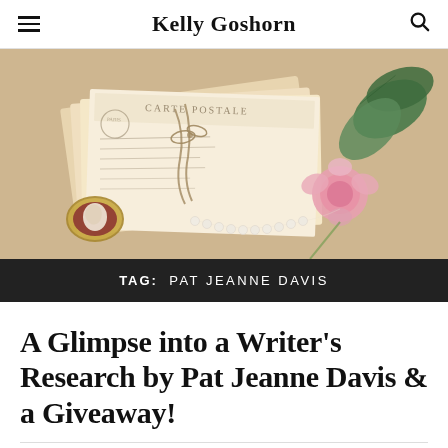Kelly Goshorn
[Figure (photo): Flatlay of vintage postcards tied with twine, a pearl necklace, a cameo brooch, and a pink rose with green leaves on a textured beige background]
TAG: PAT JEANNE DAVIS
A Glimpse into a Writer's Research by Pat Jeanne Davis & a Giveaway!